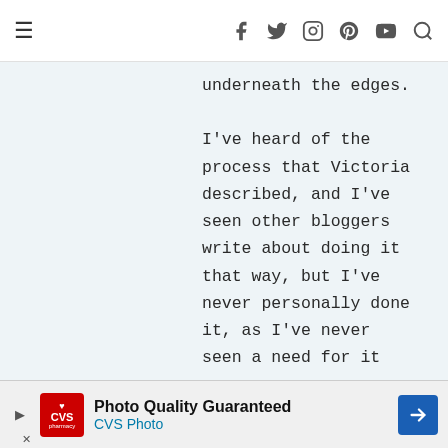≡  f  twitter  instagram  pinterest  youtube  search
underneath the edges.

I've heard of the process that Victoria described, and I've seen other bloggers write about doing it that way, but I've never personally done it, as I've never seen a need for it
[Figure (other): CVS Photo advertisement banner reading 'Photo Quality Guaranteed / CVS Photo']